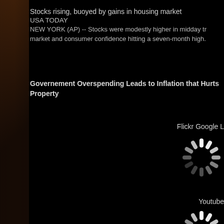Stocks rising, buoyed by gains in housing market
USA TODAY
NEW YORK (AP) -- Stocks were modestly higher in midday tr market and consumer confidence hitting a seven-month high.
Governement Overspending Leads to Inflation that Hurts Property
Flickr Google L
[Figure (other): Loading spinner icon (white dashes on black background) for Flickr Google]
Youtube
[Figure (other): Loading spinner icon (white dashes on black background) for Youtube]